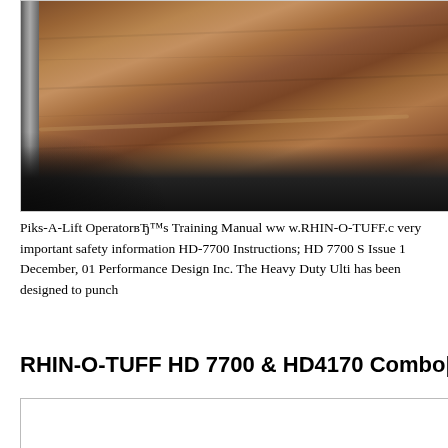[Figure (photo): Close-up photo of a piece of equipment showing a dark wood-grain laminate surface with black metal trim/base, and a grey metallic strip on the left side.]
Piks-A-Lift OperatorвЂ™s Training Manual ww w.RHIN-O-TUFF.c very important safety information HD-7700 Instructions; HD 7700 S Issue 1 December, 01 Performance Design Inc. The Heavy Duty Ulti has been designed to punch
RHIN-O-TUFF HD 7700 & HD4170 Combo
[Figure (other): Empty white box/area at the bottom of the page, partially visible.]